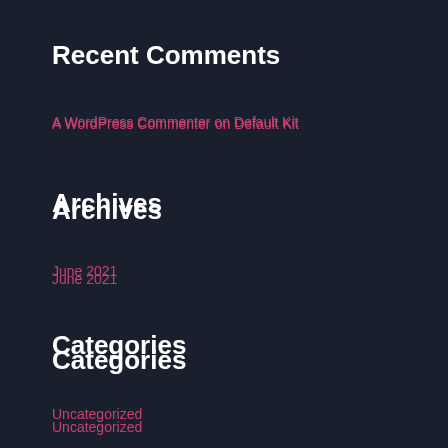Recent Comments
A WordPress Commenter on Default Kit
Archives
June 2021
Categories
Uncategorized
Meta
Register